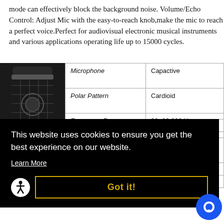mode can effectively block the background noise. Volume/Echo Control: Adjust Mic with the easy-to-reach knob,make the mic to reach a perfect voice.Perfect for audiovisual electronic musical instruments and various applications operating life up to 15000 cycles.
[Figure (photo): Black condenser microphone with metal mesh grille]
| Spec | Value |
| --- | --- |
| Microphone | Capactive |
| Polar Pattern | Cardioid |
| Frequency Response | 30-20,000 Hz |
| Sensitivity | 25mv/Pa |
|  | s 2db) |
This website uses cookies to ensure you get the best experience on our website.
Learn More
Got it!